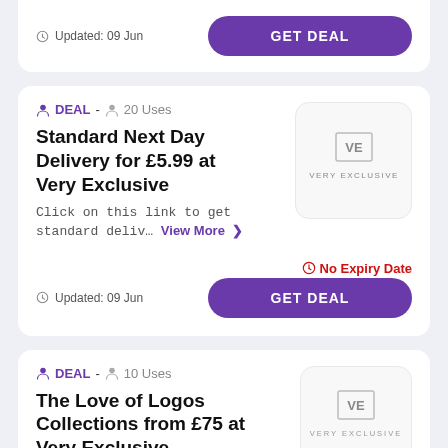Updated: 09 Jun
GET DEAL
DEAL - 20 Uses
Standard Next Day Delivery for £5.99 at Very Exclusive
Click on this link to get standard deliv… View More
[Figure (logo): Very Exclusive VE logo in a rounded square box]
No Expiry Date
Updated: 09 Jun
GET DEAL
DEAL - 10 Uses
The Love of Logos Collections from £75 at Very Exclusive
[Figure (logo): Very Exclusive VE logo in a rounded square box]